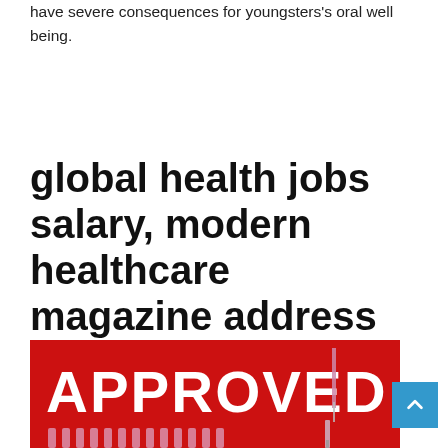have severe consequences for youngsters's oral well being.
global health jobs salary, modern healthcare magazine address change, global health jobs dc
[Figure (photo): Red background image with large white bold text 'APPROVED' and medical vials/syringes arranged below it.]